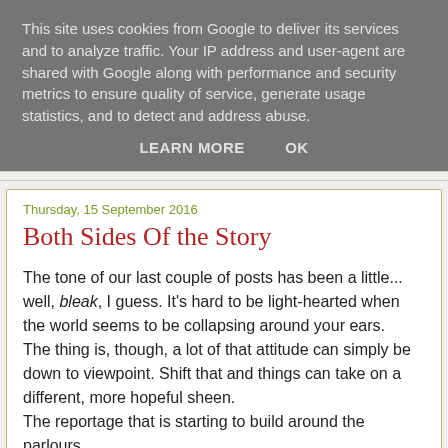This site uses cookies from Google to deliver its services and to analyze traffic. Your IP address and user-agent are shared with Google along with performance and security metrics to ensure quality of service, generate usage statistics, and to detect and address abuse.
LEARN MORE   OK
Thursday, 15 September 2016
Both Sides Of the Story
The tone of our last couple of posts has been a little... well, bleak, I guess. It's hard to be light-hearted when the world seems to be collapsing around your ears.
The thing is, though, a lot of that attitude can simply be down to viewpoint. Shift that and things can take on a different, more hopeful sheen.
The reportage that is starting to build around the parlours